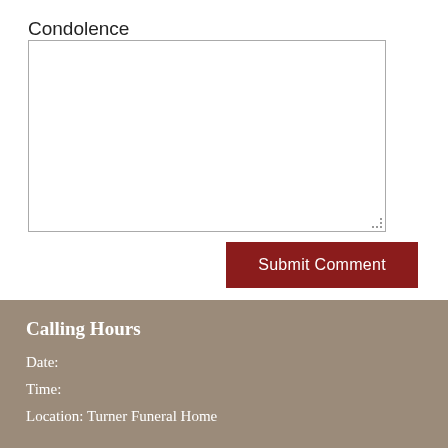Condolence
[Figure (other): Empty text area input box for condolence message with resize handle at bottom right]
Submit Comment
Calling Hours
Date:
Time:
Location: Turner Funeral Home